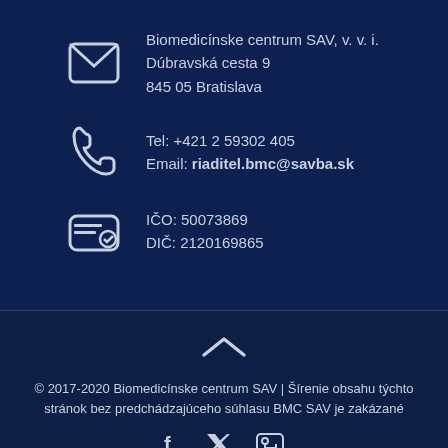Biomedicínske centrum SAV, v. v. i.
Dúbravská cesta 9
845 05 Bratislava
Tel: +421 2 59302 405
Email: riaditel.bmc@savba.sk
IČO: 50073869
DIČ: 2120169865
© 2017-2020 Biomedicínske centrum SAV | Šírenie obsahu týchto stránok bez predchádzajúceho súhlasu BMC SAV je zakázané